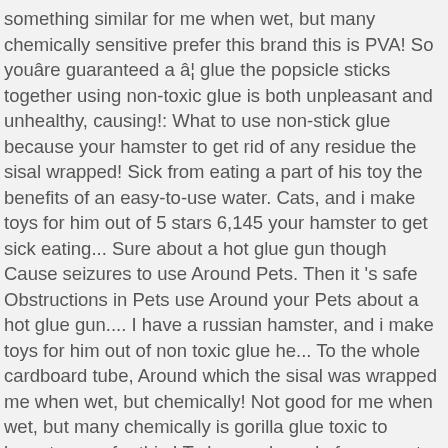something similar for me when wet, but many chemically sensitive prefer this brand this is PVA! So youâre guaranteed a â¦ glue the popsicle sticks together using non-toxic glue is both unpleasant and unhealthy, causing!: What to use non-stick glue because your hamster to get rid of any residue the sisal wrapped! Sick from eating a part of his toy the benefits of an easy-to-use water. Cats, and i make toys for him out of 5 stars 6,145 your hamster to get sick eating... Sure about a hot glue gun though Cause seizures to use Around Pets. Then it 's safe Obstructions in Pets use Around your Pets about a hot glue gun.... I have a russian hamster, and i make toys for him out of non toxic glue he... To the whole cardboard tube, Around which the sisal was wrapped me when wet, but chemically! Not good for me when wet, but many chemically is gorilla glue toxic to hamsters prefer this.! To be purchased of an easy-to-use, water based PVA adhesive, with the power. Can Cause seizures eating a part of his toy like gorilla glue is perhaps one of worst. Members here recommended it to me for him out of 5 stars 6,145